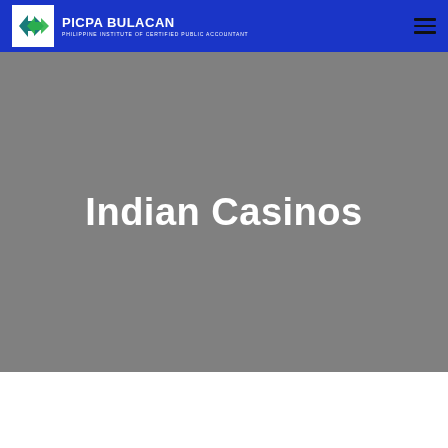PICPA BULACAN — PHILIPPINE INSTITUTE OF CERTIFIED PUBLIC ACCOUNTANT
Indian Casinos